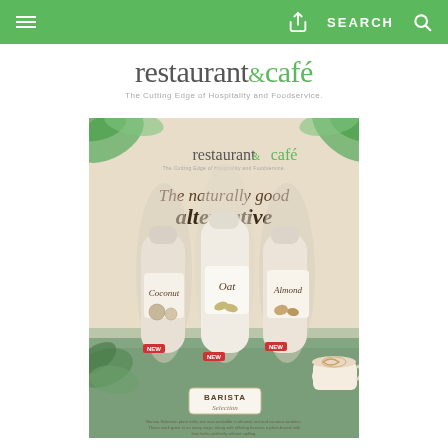restaurant & café — SEARCH
[Figure (logo): restaurant&café logo with tagline 'The Cutting Edge of Hospitality and Foodservice.']
[Figure (illustration): Advertisement for restaurant&café Barista Selection plant milks: Coconut, Oat, and Almond. Text reads 'The naturally good alternative'. Products labeled NEW. BARISTA Selection logo at bottom. Small print: 'Barista Selection plant milks are now available in almond, oat and coconut varieties. These work great in so many ways, along with offering baristas a plant-based milk that froths perfectly without spilling.']